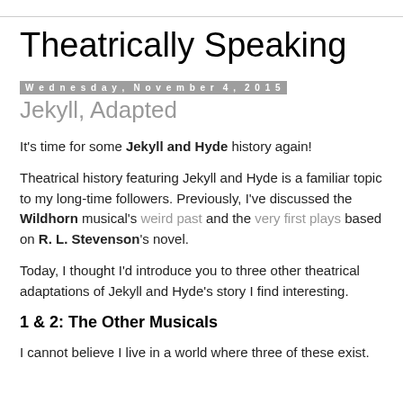Theatrically Speaking
Wednesday, November 4, 2015
Jekyll, Adapted
It's time for some Jekyll and Hyde history again!
Theatrical history featuring Jekyll and Hyde is a familiar topic to my long-time followers. Previously, I've discussed the Wildhorn musical's weird past and the very first plays based on R. L. Stevenson's novel.
Today, I thought I'd introduce you to three other theatrical adaptations of Jekyll and Hyde's story I find interesting.
1 & 2: The Other Musicals
I cannot believe I live in a world where three of these exist.